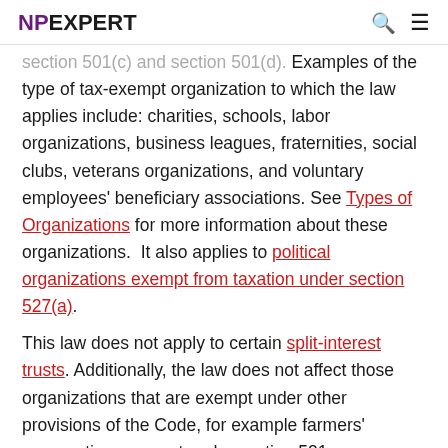NPEXPERT
section 501(c) and section 501(d). Examples of the type of tax-exempt organization to which the law applies include: charities, schools, labor organizations, business leagues, fraternities, social clubs, veterans organizations, and voluntary employees' beneficiary associations. See Types of Organizations for more information about these organizations. It also applies to political organizations exempt from taxation under section 527(a).
This law does not apply to certain split-interest trusts. Additionally, the law does not affect those organizations that are exempt under other provisions of the Code, for example farmers' cooperatives exempt under section 521; homeowners' associations exempt under section 528; and qualified state tuition programs exempt under section 529.